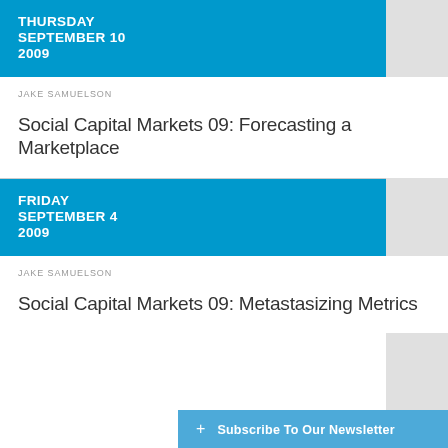THURSDAY SEPTEMBER 10 2009
JAKE SAMUELSON
Social Capital Markets 09: Forecasting a Marketplace
FRIDAY SEPTEMBER 4 2009
JAKE SAMUELSON
Social Capital Markets 09: Metastasizing Metrics
+ Subscribe To Our Newsletter